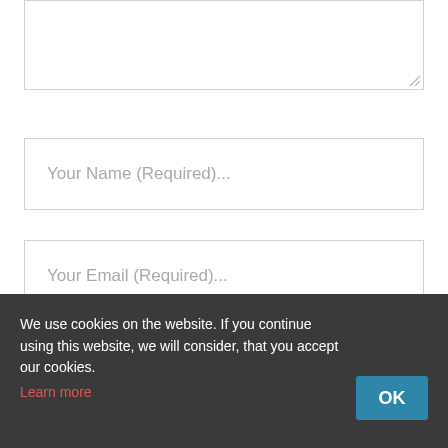[Figure (screenshot): Textarea input box with resize handle at bottom right, partially visible at top of page]
Your Name (Required)...
Your Email (Required)...
Your Website...
SUBMIT NOW
We use cookies on the website. If you continue using this website, we will consider, that you accept our cookies. Learn more